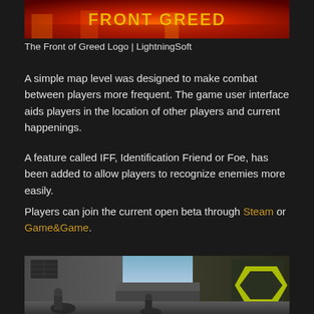[Figure (photo): The Front of Greed game logo on a red/orange fiery background with stylized text, by LightningSoft]
The Front of Greed Logo | LightningSoft
A simple map level was designed to make combat between players more frequent. The game user interface aids players in the location of other players and current happenings.
A feature called IFF, Identification Friend or Foe, has been added to allow players to recognize enemies more easily.
Players can join the current open beta through Steam or Game&Game.
[Figure (screenshot): In-game screenshot showing an alleyway map scene with players near graffiti-covered walls, urban combat setting]